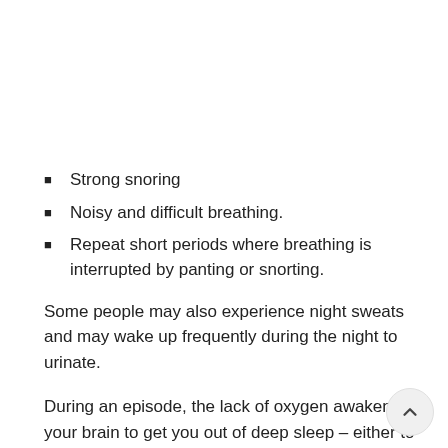Strong snoring
Noisy and difficult breathing.
Repeat short periods where breathing is interrupted by panting or snorting.
Some people may also experience night sweats and may wake up frequently during the night to urinate.
During an episode, the lack of oxygen awakens your brain to get you out of deep sleep – either to sleep lighter or wake up – so that your airway reopens and you can breathe normally.